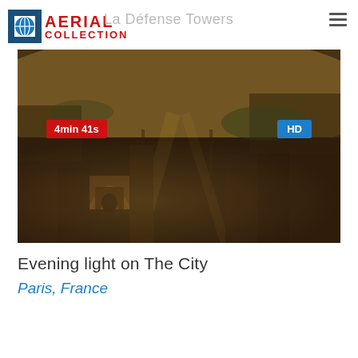AERIAL COLLECTION
La Défense Towers
[Figure (photo): Aerial photograph of Paris, France at evening light showing the Arc de Triomphe, Champs-Élysées, and city urban landscape with warm golden-brown tones. Badge overlay: '4min 41s' (red, top-left) and 'HD' (blue, top-right).]
Evening light on The City
Paris, France